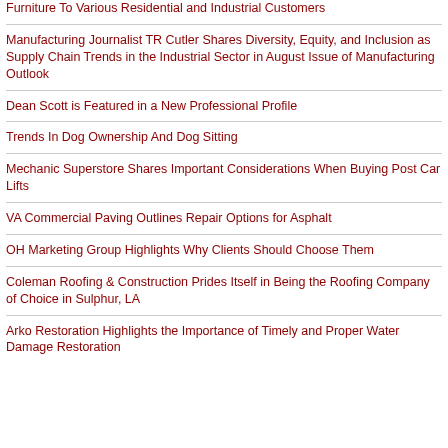Furniture To Various Residential and Industrial Customers
Manufacturing Journalist TR Cutler Shares Diversity, Equity, and Inclusion as Supply Chain Trends in the Industrial Sector in August Issue of Manufacturing Outlook
Dean Scott is Featured in a New Professional Profile
Trends In Dog Ownership And Dog Sitting
Mechanic Superstore Shares Important Considerations When Buying Post Car Lifts
VA Commercial Paving Outlines Repair Options for Asphalt
OH Marketing Group Highlights Why Clients Should Choose Them
Coleman Roofing & Construction Prides Itself in Being the Roofing Company of Choice in Sulphur, LA
Arko Restoration Highlights the Importance of Timely and Proper Water Damage Restoration